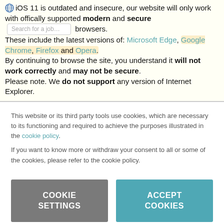iOS 11 is outdated and insecure, our website will only work with offically supported modern and secure browsers. These include the latest versions of: Microsoft Edge, Google Chrome, Firefox and Opera. By continuing to browse the site, you understand it will not work correctly and may not be secure. Please note. We do not support any version of Internet Explorer.
This website or its third party tools use cookies, which are necessary to its functioning and required to achieve the purposes illustrated in the cookie policy. If you want to know more or withdraw your consent to all or some of the cookies, please refer to the cookie policy.
COOKIE SETTINGS
ACCEPT COOKIES